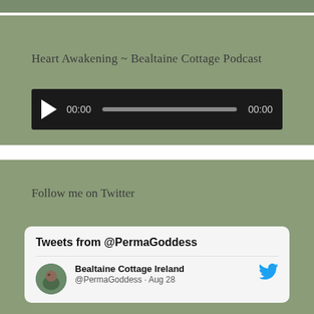Heart Awakening ~ Bealtaine Cottage Podcast
[Figure (screenshot): Audio player widget showing play button, 00:00 start time, progress bar, and 00:00 end time on dark background]
Follow me on Twitter
[Figure (screenshot): Twitter widget card titled 'Tweets from @PermaGoddess' showing Bealtaine Cottage Ireland @PermaGoddess tweet entry dated Aug 28 with avatar and Twitter bird icon]